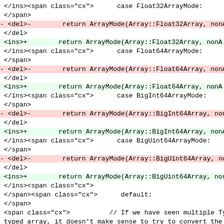Code diff showing array mode return statements for Float32ArrayMode, Float64ArrayMode, BigInt64ArrayMode, BigUint64ArrayMode, and default case with typed array comment